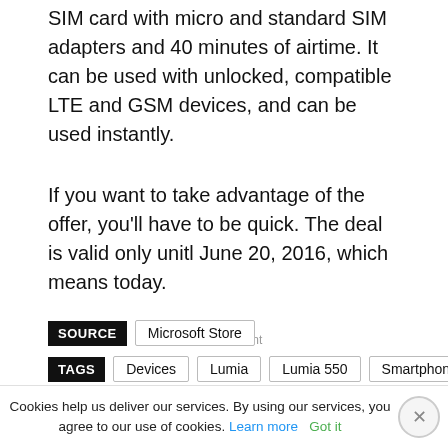SIM card with micro and standard SIM adapters and 40 minutes of airtime. It can be used with unlocked, compatible LTE and GSM devices, and can be used instantly.
If you want to take advantage of the offer, you'll have to be quick. The deal is valid only unitl June 20, 2016, which means today.
Advertisement
SOURCE  Microsoft Store
TAGS  Devices  Lumia  Lumia 550  Smartphone  Windows 10 Mobile  Windows Store
Cookies help us deliver our services. By using our services, you agree to our use of cookies. Learn more  Got it